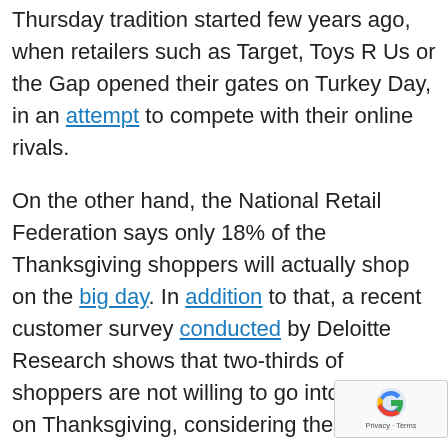Thursday tradition started few years ago, when retailers such as Target, Toys R Us or the Gap opened their gates on Turkey Day, in an attempt to compete with their online rivals.
On the other hand, the National Retail Federation says only 18% of the Thanksgiving shoppers will actually shop on the big day. In addition to that, a recent customer survey conducted by Deloitte Research shows that two-thirds of shoppers are not willing to go into stores on Thanksgiving, considering the time spent with their family more important.
Thanksgiving shopping has created a schis... between those who want to chase deals an...